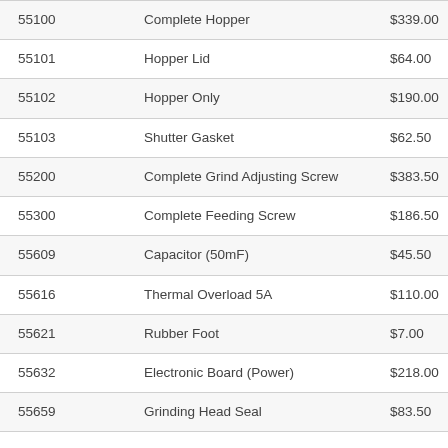| 55100 | Complete Hopper | $339.00 |
| 55101 | Hopper Lid | $64.00 |
| 55102 | Hopper Only | $190.00 |
| 55103 | Shutter Gasket | $62.50 |
| 55200 | Complete Grind Adjusting Screw | $383.50 |
| 55300 | Complete Feeding Screw | $186.50 |
| 55609 | Capacitor (50mF) | $45.50 |
| 55616 | Thermal Overload 5A | $110.00 |
| 55621 | Rubber Foot | $7.00 |
| 55632 | Electronic Board (Power) | $218.00 |
| 55659 | Grinding Head Seal | $83.50 |